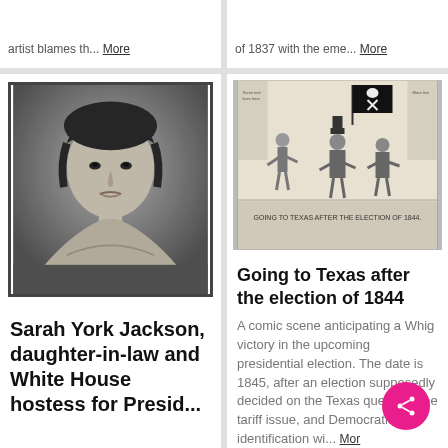artist blames th... More
of 1837 with the eme... More
[Figure (photo): Black and white portrait photograph of Sarah York Jackson, a woman with dark hair parted in the middle, wearing an off-shoulder dress]
Sarah York Jackson, daughter-in-law and White House hostess for Presid...
[Figure (illustration): Historical illustration/cartoon titled 'Going to Texas after the Election of 1844' depicting a comic scene with figures under a pirate flag]
Going to Texas after the election of 1844
A comic scene anticipating a Whig victory in the upcoming presidential election. The date is 1845, after an election supposedly decided on the Texas question, the tariff issue, and Democratic identification wi... More